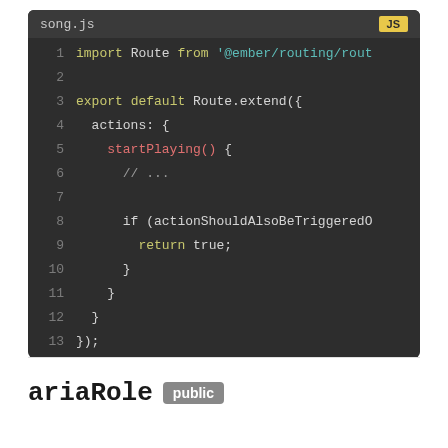[Figure (screenshot): Code block showing song.js JavaScript file with Ember.js Route.extend and actions, startPlaying function with if statement returning true. Lines 1-13 shown. Language badge 'JS' in yellow.]
ariaRole public